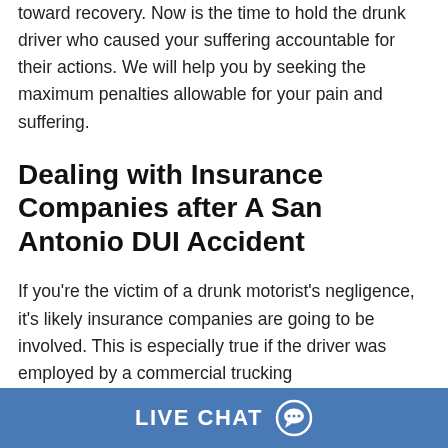toward recovery. Now is the time to hold the drunk driver who caused your suffering accountable for their actions. We will help you by seeking the maximum penalties allowable for your pain and suffering.
Dealing with Insurance Companies after A San Antonio DUI Accident
If you're the victim of a drunk motorist's negligence, it's likely insurance companies are going to be involved. This is especially true if the driver was employed by a commercial trucking
LIVE CHAT